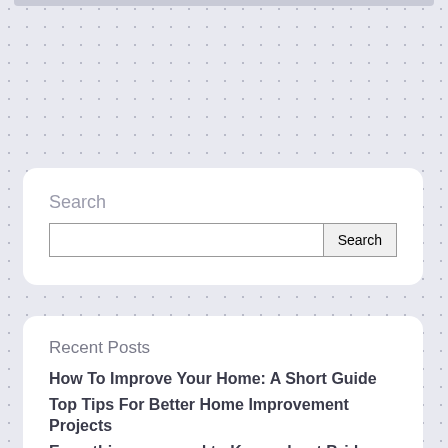[Figure (screenshot): Search widget card with a text input and Search button on a dotted light gray background]
Search
Recent Posts
How To Improve Your Home: A Short Guide
Top Tips For Better Home Improvement Projects
Everything you need to Know about Bridge Abutments
Everything You Should Know About Soil